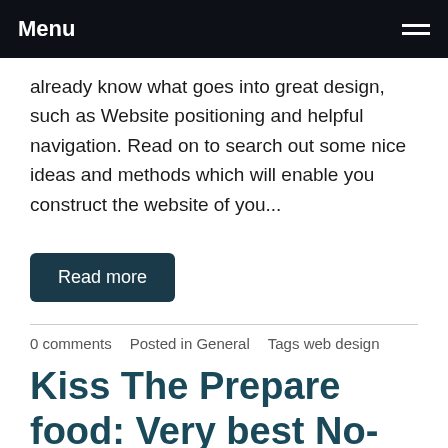Menu
already know what goes into great design, such as Website positioning and helpful navigation. Read on to search out some nice ideas and methods which will enable you construct the website of you...
Read more
0 comments   Posted in General   Tags web design
Kiss The Prepare food: Very best No-Nonsense Cooking food Recommendations
July 16, 2020